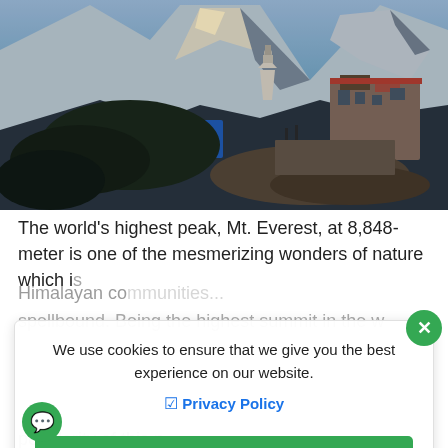[Figure (photo): Photograph of a Himalayan mountain village with snow-capped peaks in the background, including a white stupa and traditional buildings, taken at dusk/dawn.]
The world's highest peak, Mt. Everest, at 8,848-meter is one of the mesmerizing wonders of nature which is beloved to Himalayan communities and has left everyone spellbound. Being the highest summit in the world, the popularity of this peak is unmatched across the globe top...
We use cookies to ensure that we give you the best experience on our website.
Privacy Policy
Allow Cookies